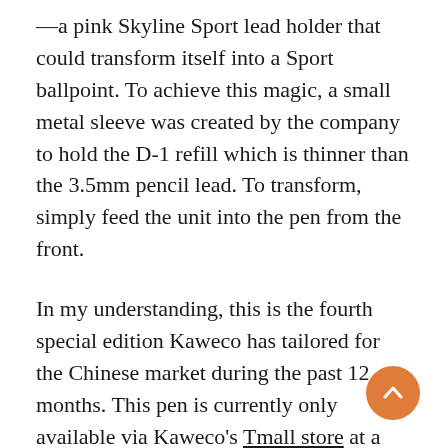—a pink Skyline Sport lead holder that could transform itself into a Sport ballpoint. To achieve this magic, a small metal sleeve was created by the company to hold the D-1 refill which is thinner than the 3.5mm pencil lead. To transform, simply feed the unit into the pen from the front.
In my understanding, this is the fourth special edition Kaweco has tailored for the Chinese market during the past 12 months. This pen is currently only available via Kaweco's Tmall store at a price of 168RMB ($26.67).